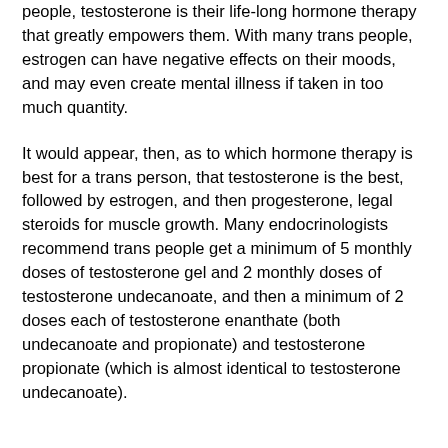people, testosterone is their life-long hormone therapy that greatly empowers them. With many trans people, estrogen can have negative effects on their moods, and may even create mental illness if taken in too much quantity.
It would appear, then, as to which hormone therapy is best for a trans person, that testosterone is the best, followed by estrogen, and then progesterone, legal steroids for muscle growth. Many endocrinologists recommend trans people get a minimum of 5 monthly doses of testosterone gel and 2 monthly doses of testosterone undecanoate, and then a minimum of 2 doses each of testosterone enanthate (both undecanoate and propionate) and testosterone propionate (which is almost identical to testosterone undecanoate).